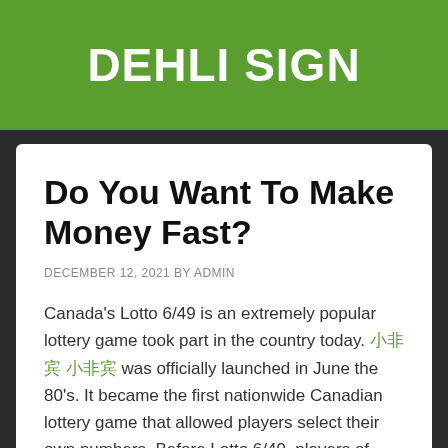DEHLI SIGN
Do You Want To Make Money Fast?
DECEMBER 12, 2021 BY ADMIN
Canada's Lotto 6/49 is an extremely popular lottery game took part in the country today. [green text] was officially launched in June the 80's. It became the first nationwide Canadian lottery game that allowed players select their own numbers. Before Lotto 6/49, players of lottery